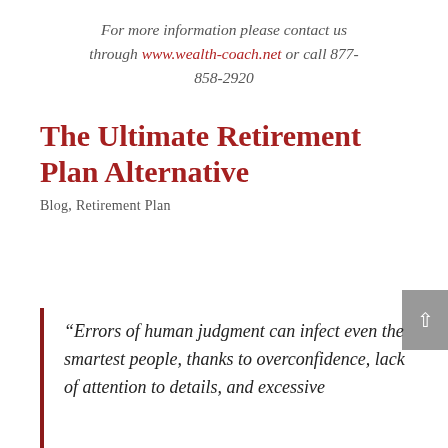For more information please contact us through www.wealth-coach.net or call 877-858-2920
The Ultimate Retirement Plan Alternative
Blog, Retirement Plan
“Errors of human judgment can infect even the smartest people, thanks to overconfidence, lack of attention to details, and excessive